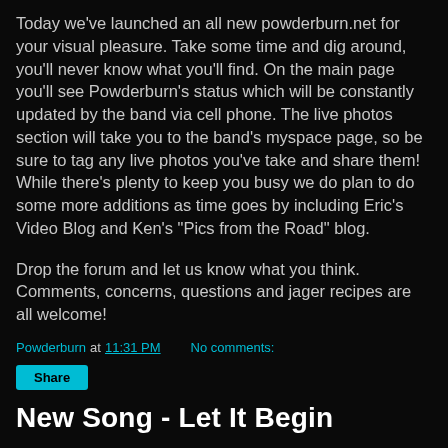Today we've launched an all new powderburn.net for your visual pleasure. Take some time and dig around, you'll never know what you'll find. On the main page you'll see Powderburn's status which will be constantly updated by the band via cell phone. The live photos section will take you to the band's myspace page, so be sure to tag any live photos you've take and share them! While there's plenty to keep you busy we do plan to do some more additions as time goes by including Eric's Video Blog and Ken's "Pics from the Road" blog.
Drop the forum and let us know what you think. Comments, concerns, questions and jager recipes are all welcome!
Powderburn at 11:31 PM   No comments:
Share
New Song - Let It Begin